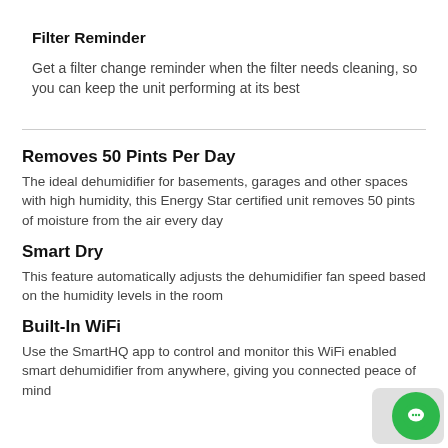Filter Reminder
Get a filter change reminder when the filter needs cleaning, so you can keep the unit performing at its best
Removes 50 Pints Per Day
The ideal dehumidifier for basements, garages and other spaces with high humidity, this Energy Star certified unit removes 50 pints of moisture from the air every day
Smart Dry
This feature automatically adjusts the dehumidifier fan speed based on the humidity levels in the room
Built-In WiFi
Use the SmartHQ app to control and monitor this WiFi enabled smart dehumidifier from anywhere, giving you connected peace of mind